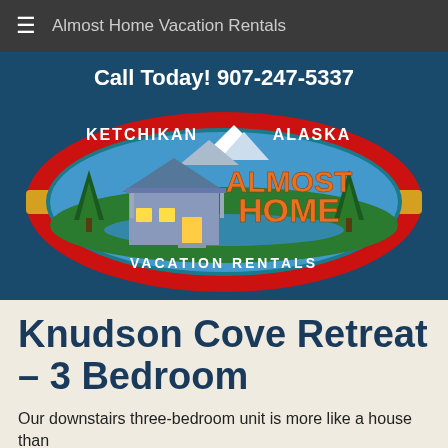Almost Home Vacation Rentals
Call Today! 907-247-5337
[Figure (logo): Almost Home Vacation Rentals logo — oval shape with red border, blue background, green trees and mountain scenery, a house illustration, text reading KETCHIKAN ALASKA ALMOST HOME VACATION RENTALS]
Knudson Cove Retreat – 3 Bedroom
Our downstairs three-bedroom unit is more like a house than